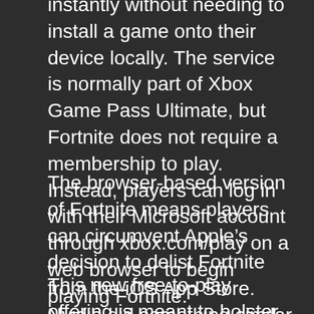instantly without needing to install a game onto their device locally. The service is normally part of Xbox Game Pass Ultimate, but Fortnite does not require a membership to play. Instead, players can log in with their Microsoft account through xbox.com/play on a web browser to begin playing Fortnite.
The browser-based version of Fortnite means players can circumvent Apple’s decision to delist Fortnite from the iOS App Store. Nvidia did something similar for a limited time when it brought Fortnite to its streaming platform GeForce Now.
This new free-to-play offering is meant to bolster Xbox Cloud Gaming which Microsoft announced